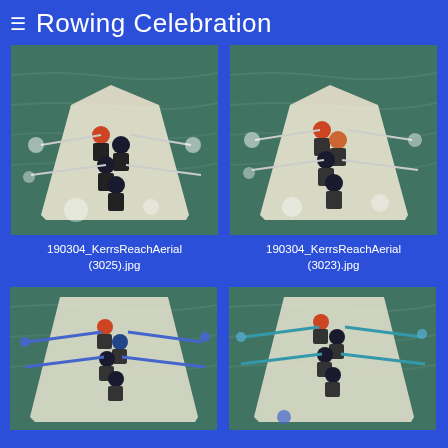≡ Rowing Celebration
[Figure (photo): Aerial view of rowing crew in a long boat on water, paddling with oars creating splashes]
190304_KerrsReachAerial (3025).jpg
[Figure (photo): Aerial view of rowing crew in a long boat on water, paddling with oars creating splashes]
190304_KerrsReachAerial (3023).jpg
[Figure (photo): Aerial view of rowing crew in a long boat on water with blue oars]
[Figure (photo): Aerial view of rowing crew in a long boat on water with blue/green oars]